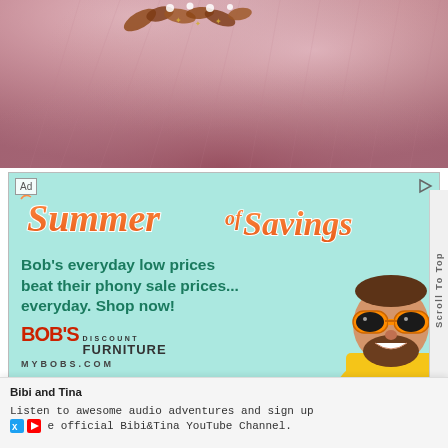[Figure (photo): Close-up of a pink/dusty rose tulle ballgown skirt with floral/leaf embellishments at the waist, shot against a white background.]
[Figure (infographic): Bob's Discount Furniture 'Summer of Savings' advertisement on a teal/mint background. Features stylized script title 'Summer of Savings', body text 'Bob's everyday low prices beat their phony sale prices... everyday. Shop now!', Bob's Discount Furniture logo and MYBOBS.COM URL, and a cartoon character of a man with orange sunglasses and yellow shirt.]
Ad
Summer of Savings
Bob's everyday low prices beat their phony sale prices... everyday. Shop now!
BOB'S DISCOUNT FURNITURE MYBOBS.COM
Scroll To Top
Bibi and Tina
Listen to awesome audio adventures and sign up
e official Bibi&Tina YouTube Channel.